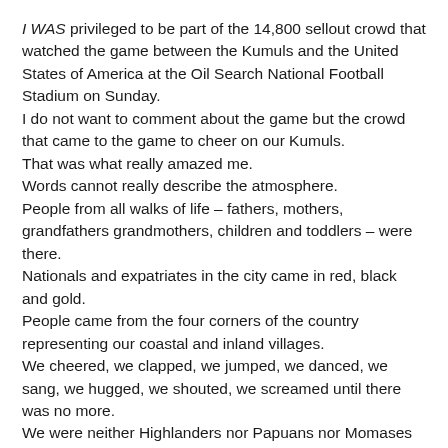I WAS privileged to be part of the 14,800 sellout crowd that watched the game between the Kumuls and the United States of America at the Oil Search National Football Stadium on Sunday. I do not want to comment about the game but the crowd that came to the game to cheer on our Kumuls. That was what really amazed me. Words cannot really describe the atmosphere. People from all walks of life – fathers, mothers, grandfathers grandmothers, children and toddlers – were there. Nationals and expatriates in the city came in red, black and gold. People came from the four corners of the country representing our coastal and inland villages. We cheered, we clapped, we jumped, we danced, we sang, we hugged, we shouted, we screamed until there was no more. We were neither Highlanders nor Papuans nor Momases nor New Guinea Islanders. We were one people, one country and one nation urging our national team to onward. The atmosphere was unbelievable. It was electrifying. We were Papua New Guineans united as never before. I wish the Kumuls all the best against the British Lions next weekend.